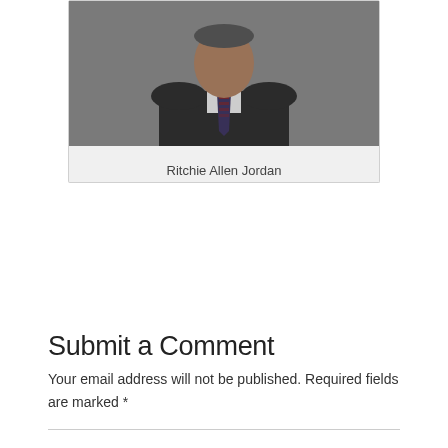[Figure (photo): Photo of a man in a dark suit and tie, shown from chest up, with a gray background]
Ritchie Allen Jordan
Submit a Comment
Your email address will not be published. Required fields are marked *